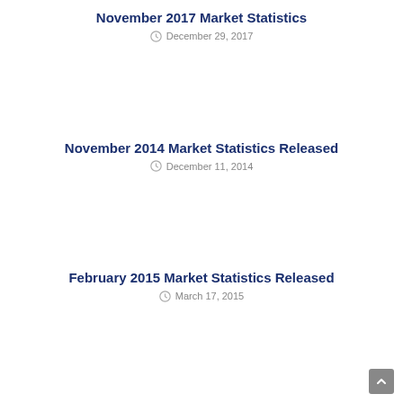November 2017 Market Statistics
December 29, 2017
November 2014 Market Statistics Released
December 11, 2014
February 2015 Market Statistics Released
March 17, 2015